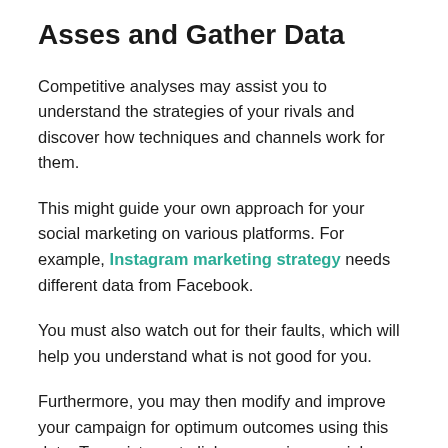Asses and Gather Data
Competitive analyses may assist you to understand the strategies of your rivals and discover how techniques and channels work for them.
This might guide your own approach for your social marketing on various platforms. For example, Instagram marketing strategy needs different data from Facebook.
You must also watch out for their faults, which will help you understand what is not good for you.
Furthermore, you may then modify and improve your campaign for optimum outcomes using this data. To assist you to link your various social network statistics with the visitors of your site, so you can track all your results in one single location, using technologies